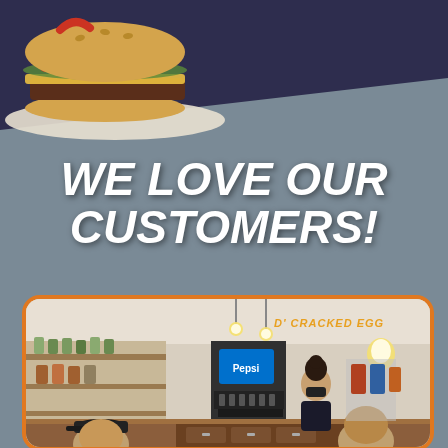[Figure (photo): Burger sandwich on a white plate, top portion visible against dark navy background]
WE LOVE OUR CUSTOMERS!
[Figure (photo): Interior of D' Cracked Egg restaurant showing counter, drink dispensers, shelves with bottles, staff member wearing mask behind counter, and two male customers in foreground. Orange border frame.]